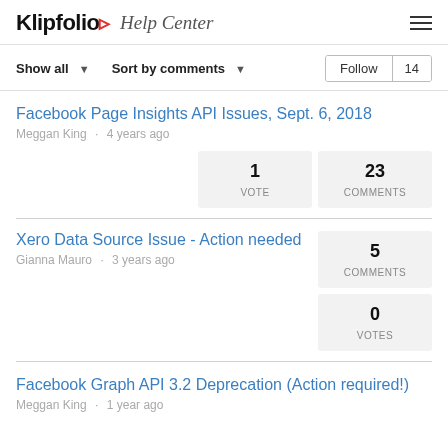Klipfolio Help Center
Show all ▾   Sort by comments ▾   Follow 14
Facebook Page Insights API Issues, Sept. 6, 2018
Meggan King · 4 years ago
1 VOTE  23 COMMENTS
Xero Data Source Issue - Action needed
Gianna Mauro · 3 years ago
5 COMMENTS  0 VOTES
Facebook Graph API 3.2 Deprecation (Action required!)
Meggan King · 1 year ago